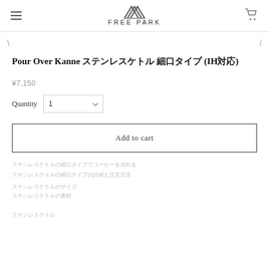FREE PARK
Pour Over Kanne ステンレスケトル 細口タイプ (IH対応)
¥7,150
Quantity  1
Add to cart
ステンレスケトルの細口タイプ
ステンレスケトルの細口タイプの詳細
ステンレスケトル
ステンレスケトル
ステンレスケトル